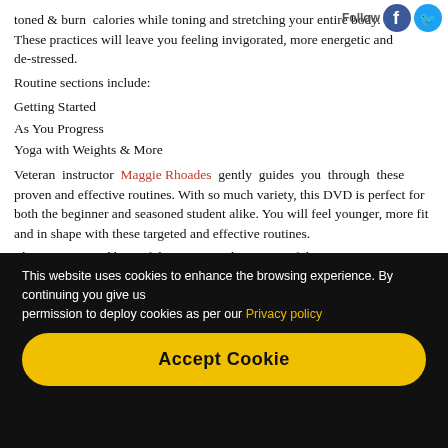toned & burn calories while toning and stretching your entire body. These practices will leave you feeling invigorated, more energetic and de-stressed.
Routine sections include:
Getting Started
As You Progress
Yoga with Weights & More
Veteran instructor Maggie Rhoades gently guides you through these proven and effective routines. With so much variety, this DVD is perfect for both the beginner and seasoned student alike. You will feel younger, more fit and in shape with these targeted and effective routines.
This stunning and beautiful DVD was shot at one of the most majestic, tranquil beaches in the world, Half-Moon Bay, Antigual
[Figure (other): Dark video player block]
This website uses cookies to enhance the browsing experience. By continuing you give us permission to deploy cookies as per our Privacy policy
Accept Cookie